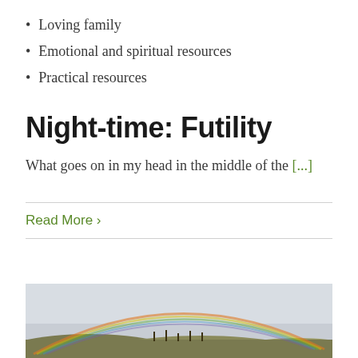Loving family
Emotional and spiritual resources
Practical resources
Night-time: Futility
What goes on in my head in the middle of the [...]
Read More >
[Figure (photo): A landscape photograph showing a rainbow arching over rolling hills with sparse trees under an overcast gray sky.]